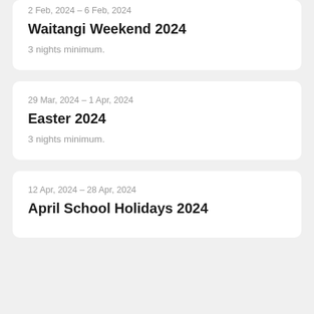2 Feb, 2024 – 6 Feb, 2024
Waitangi Weekend 2024
3 nights minimum.
29 Mar, 2024 – 1 Apr, 2024
Easter 2024
3 nights minimum.
12 Apr, 2024 – 28 Apr, 2024
April School Holidays 2024